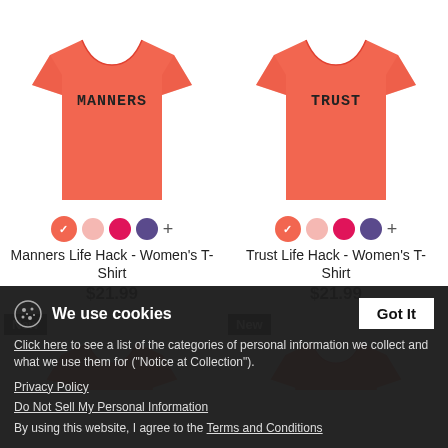[Figure (photo): Coral/salmon women's t-shirt with 'MANNERS' text printed on front]
[Figure (photo): Coral/salmon women's t-shirt with 'TRUST' text printed on front]
Manners Life Hack - Women's T-Shirt
$21.99
Trust Life Hack - Women's T-Shirt
$21.99
[Figure (photo): Coral/salmon women's t-shirt partial view with 'New' badge]
[Figure (photo): Coral/salmon women's t-shirt partial view with 'New' badge]
We use cookies
Click here to see a list of the categories of personal information we collect and what we use them for ("Notice at Collection").
Privacy Policy
Do Not Sell My Personal Information
By using this website, I agree to the Terms and Conditions